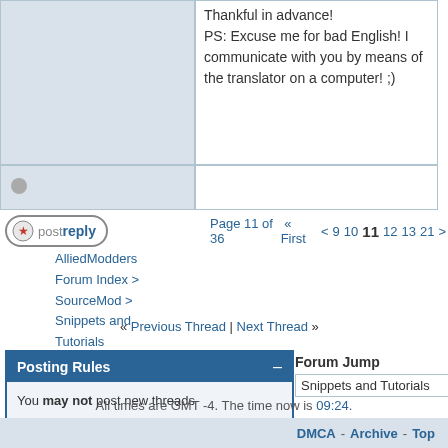Thankful in advance! PS: Excuse me for bad English! I communicate with you by means of the translator on a computer! ;)
Page 11 of 36  « First  < 9  10  11  12  13  21  >
AlliedModders Forum Index > SourceMod > Snippets and Tutorials
« Previous Thread | Next Thread »
Posting Rules
You may not post new threads
You may not post replies
You may not post attachments
You may not edit your posts
BB code is On
Smilies are On
[IMG] code is On
HTML code is Off
Forum Rules
Forum Jump
Snippets and Tutorials
All times are GMT -4. The time now is 09:24.
DMCA - Archive - Top